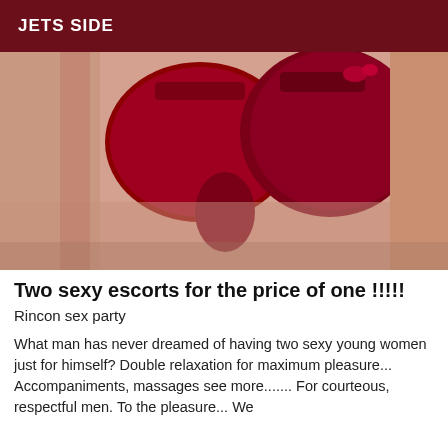JETS SIDE
[Figure (photo): A woman wearing red lace lingerie lying down, close-up torso shot.]
Two sexy escorts for the price of one !!!!!
Rincon sex party
What man has never dreamed of having two sexy young women just for himself? Double relaxation for maximum pleasure... Accompaniments, massages see more....... For courteous, respectful men. To the pleasure... We